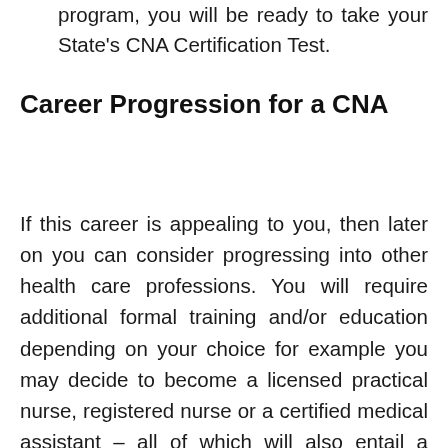program, you will be ready to take your State's CNA Certification Test.
Career Progression for a CNA
If this career is appealing to you, then later on you can consider progressing into other health care professions. You will require additional formal training and/or education depending on your choice for example you may decide to become a licensed practical nurse, registered nurse or a certified medical assistant – all of which will also entail a higher salary.